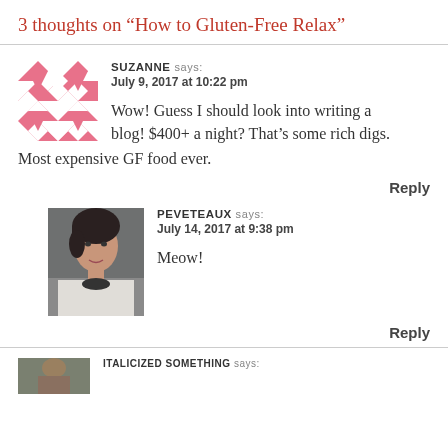3 thoughts on “How to Gluten-Free Relax”
SUZANNE says:
July 9, 2017 at 10:22 pm

Wow! Guess I should look into writing a blog! $400+ a night? That’s some rich digs. Most expensive GF food ever.
Reply
PEVETEAUX says:
July 14, 2017 at 9:38 pm

Meow!
Reply